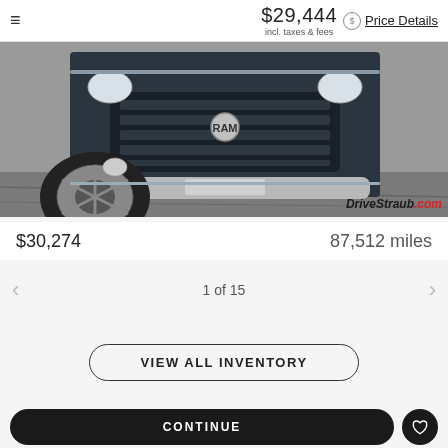≡   $29,444 incl. taxes & fees   $ Price Details
[Figure (photo): Close-up front view of a truck showing grille, bumper, and wheel, with DriveStraub.com watermark at bottom right]
$30,274   87,512 miles
1 of 15
VIEW ALL INVENTORY
CONTINUE